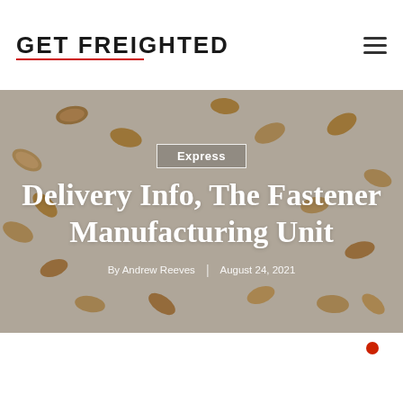GET FREIGHTED
[Figure (photo): Scattered wine corks on a light grey background forming a hero banner image]
Express
Delivery Info, The Fastener Manufacturing Unit
By Andrew Reeves | August 24, 2021